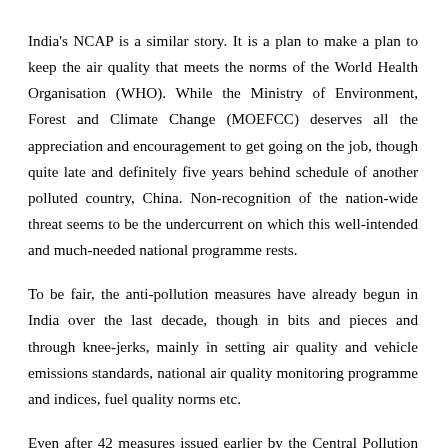India's NCAP is a similar story. It is a plan to make a plan to keep the air quality that meets the norms of the World Health Organisation (WHO). While the Ministry of Environment, Forest and Climate Change (MOEFCC) deserves all the appreciation and encouragement to get going on the job, though quite late and definitely five years behind schedule of another polluted country, China. Non-recognition of the nation-wide threat seems to be the undercurrent on which this well-intended and much-needed national programme rests.
To be fair, the anti-pollution measures have already begun in India over the last decade, though in bits and pieces and through knee-jerks, mainly in setting air quality and vehicle emissions standards, national air quality monitoring programme and indices, fuel quality norms etc.
Even after 42 measures issued earlier by the Central Pollution Control Board (CPCB) and graded response action plan that addresses the seasonal and level of severity for Delhi and other cities, air pollution